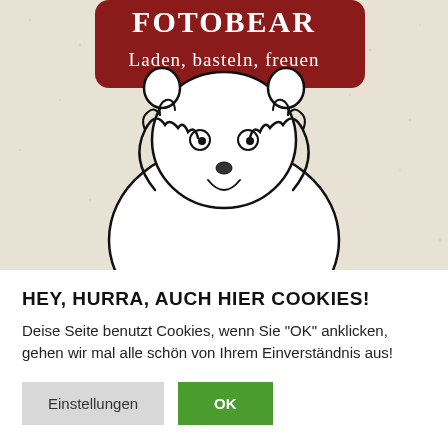[Figure (illustration): Cartoon polar bear with wide eyes and raised paws, holding its face in surprise. Above the bear is a dark red/maroon banner with white text in a hand-drawn style reading 'Laden, basteln, freuen'. The background is a textured beige/cream color.]
HEY, HURRA, AUCH HIER COOKIES!
Deise Seite benutzt Cookies, wenn Sie "OK" anklicken, gehen wir mal alle schön von Ihrem Einverständnis aus!
Einstellungen | OK